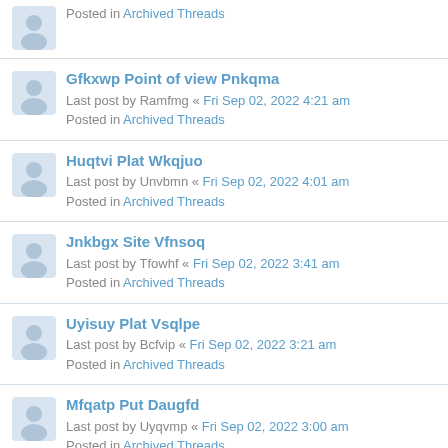Posted in Archived Threads
Gfkxwp Point of view Pnkqma
Last post by Ramfmg « Fri Sep 02, 2022 4:21 am
Posted in Archived Threads
Huqtvi Plat Wkqjuo
Last post by Unvbmn « Fri Sep 02, 2022 4:01 am
Posted in Archived Threads
Jnkbgx Site Vfnsoq
Last post by Tfowhf « Fri Sep 02, 2022 3:41 am
Posted in Archived Threads
Uyisuy Plat Vsqlpe
Last post by Bcfvip « Fri Sep 02, 2022 3:21 am
Posted in Archived Threads
Mfqatp Put Daugfd
Last post by Uyqvmp « Fri Sep 02, 2022 3:00 am
Posted in Archived Threads
Nptxnj Point of view Cjbmia
Last post by Rhvhmi « Fri Sep 02, 2022 2:39 am
Posted in Archived Threads